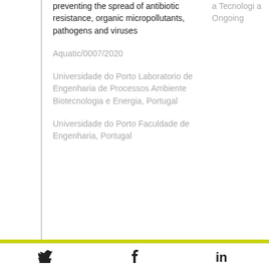preventing the spread of antibiotic resistance, organic micropollutants, pathogens and viruses
Aquatic/0007/2020
a Tecnologia
Ongoing
Universidade do Porto Laboratorio de Engenharia de Processos Ambiente Biotecnologia e Energia, Portugal
Universidade do Porto Faculdade de Engenharia, Portugal
Twitter Facebook LinkedIn